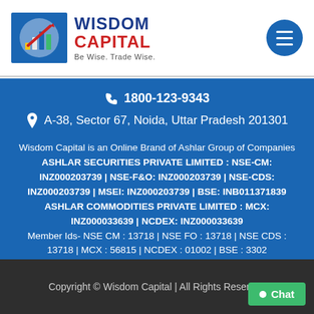[Figure (logo): Wisdom Capital logo with blue box containing chart graphic, brand name in blue and red, tagline 'Be Wise. Trade Wise.']
1800-123-9343
A-38, Sector 67, Noida, Uttar Pradesh 201301
Wisdom Capital is an Online Brand of Ashlar Group of Companies
ASHLAR SECURITIES PRIVATE LIMITED : NSE-CM: INZ000203739 | NSE-F&O: INZ000203739 | NSE-CDS: INZ000203739 | MSEI: INZ000203739 | BSE: INB011371839
ASHLAR COMMODITIES PRIVATE LIMITED : MCX: INZ000033639 | NCDEX: INZ000033639
Member Ids- NSE CM : 13718 | NSE FO : 13718 | NSE CDS : 13718 | MCX : 56815 | NCDEX : 01002 | BSE : 3302
Copyright © Wisdom Capital | All Rights Reserved